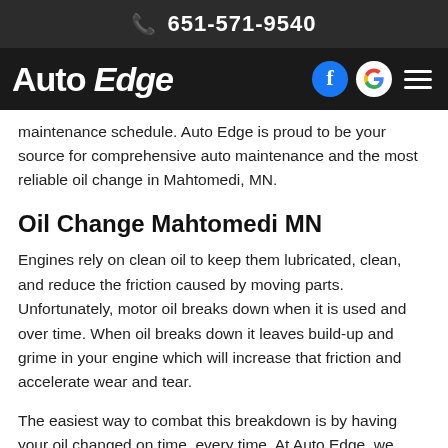651-571-9540
[Figure (logo): Auto Edge logo with Facebook, Google, and menu icons on dark navigation bar]
maintenance schedule. Auto Edge is proud to be your source for comprehensive auto maintenance and the most reliable oil change in Mahtomedi, MN.
Oil Change Mahtomedi MN
Engines rely on clean oil to keep them lubricated, clean, and reduce the friction caused by moving parts. Unfortunately, motor oil breaks down when it is used and over time. When oil breaks down it leaves build-up and grime in your engine which will increase that friction and accelerate wear and tear.
The easiest way to combat this breakdown is by having your oil changed on time, every time. At Auto Edge, we understand that different vehicles have different needs and